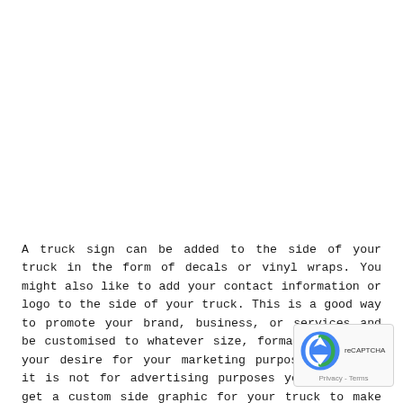A truck sign can be added to the side of your truck in the form of decals or vinyl wraps. You might also like to add your contact information or logo to the side of your truck. This is a good way to promote your brand, business, or services and be customised to whatever size, format, or colour your desire for your marketing purposes. Even if it is not for advertising purposes you can still get a custom side graphic for your truck to make it unique to you.